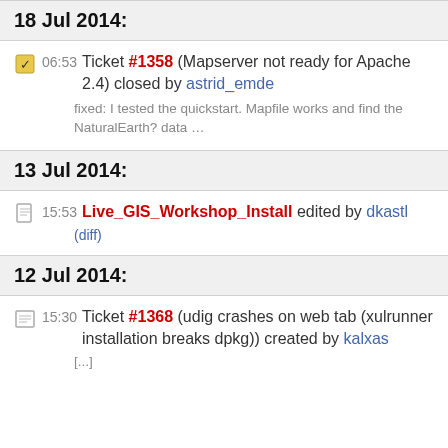18 Jul 2014:
06:53 Ticket #1358 (Mapserver not ready for Apache 2.4) closed by astrid_emde
fixed: I tested the quickstart. Mapfile works and find the NaturalEarth? data …
13 Jul 2014:
15:53 Live_GIS_Workshop_Install edited by dkastl (diff)
12 Jul 2014:
15:30 Ticket #1368 (udig crashes on web tab (xulrunner installation breaks dpkg)) created by kalxas
[...]